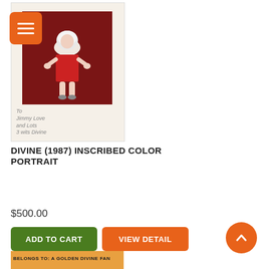[Figure (photo): Orange hamburger menu button with three white horizontal lines on orange rounded square background]
[Figure (photo): Vintage color portrait photo of Divine in red dress with white wig, standing pose, mounted on cream card with handwritten inscription reading 'To Jimmy Love and Lots 3 wits Divine']
DIVINE (1987) INSCRIBED COLOR PORTRAIT
$500.00
ADD TO CART
VIEW DETAIL
[Figure (other): Scroll-to-top arrow button, orange circle with white chevron pointing up]
[Figure (other): Bottom partial image strip with orange/tan background and partial text]